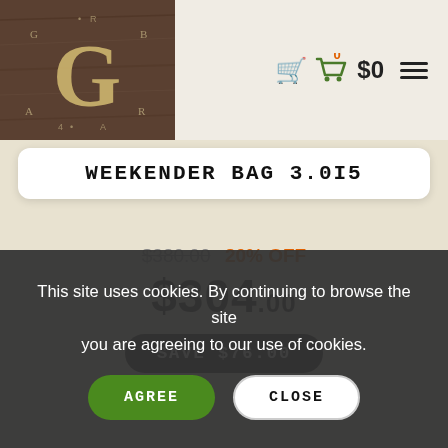[Figure (logo): Branded logo with stylized G letter on dark wood-textured background]
$0 cart, hamburger menu
WEEKENDER BAG 3.015
$380.00 20% OFF $304.00 SAVE $76.00
[Figure (photo): Dark leather weekender bag with straps, viewed from above/top angle]
This site uses cookies. By continuing to browse the site you are agreeing to our use of cookies.